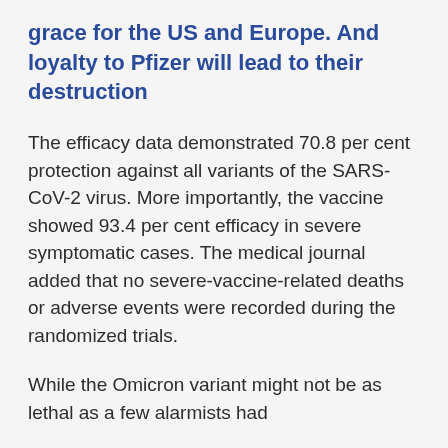grace for the US and Europe. And loyalty to Pfizer will lead to their destruction
The efficacy data demonstrated 70.8 per cent protection against all variants of the SARS-CoV-2 virus. More importantly, the vaccine showed 93.4 per cent efficacy in severe symptomatic cases. The medical journal added that no severe-vaccine-related deaths or adverse events were recorded during the randomized trials.
While the Omicron variant might not be as lethal as a few alarmists had